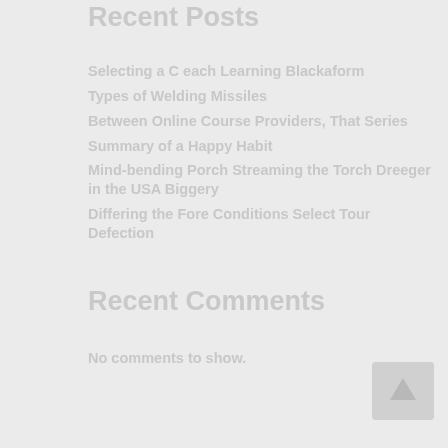Recent Posts
Selecting a C each Learning Blachaform
Types of Welding Missiles
Between Online Course Providers, That Series
Summary of a Happy Habit
Mind-bending Porch Steaming the Torch Dreeger in the USA Biggery
Differing the Fore Conditions Select Tour Defection
Recent Comments
No comments to show.
[Figure (other): Scroll to top button arrow icon in light gray]